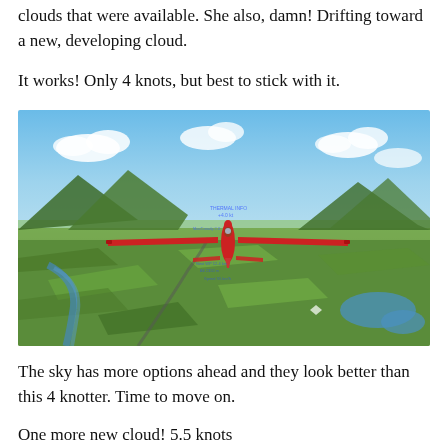clouds that were available. She also, damn! Drifting toward a new, developing cloud.
It works! Only 4 knots, but best to stick with it.
[Figure (screenshot): Flight simulator screenshot showing a red glider aircraft flying over a landscape with mountains, fields, rivers and lakes visible below. Blue sky with white clouds above. HUD data overlaid on the image.]
The sky has more options ahead and they look better than this 4 knotter. Time to move on.
One more new cloud! 5.5 knots